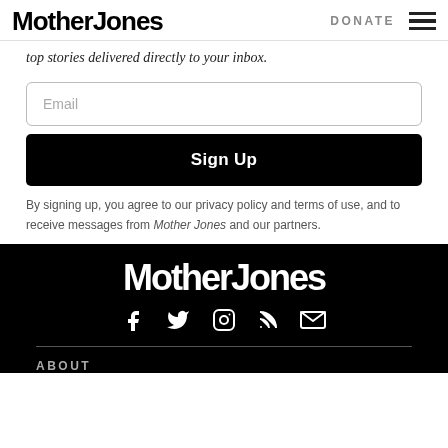Mother Jones | DONATE
top stories delivered directly to your inbox.
Email
Sign Up
By signing up, you agree to our privacy policy and terms of use, and to receive messages from Mother Jones and our partners.
[Figure (logo): Mother Jones logo in white on black background]
[Figure (infographic): Social media icons: Facebook, Twitter, Instagram, RSS, Email in white on black]
ABOUT